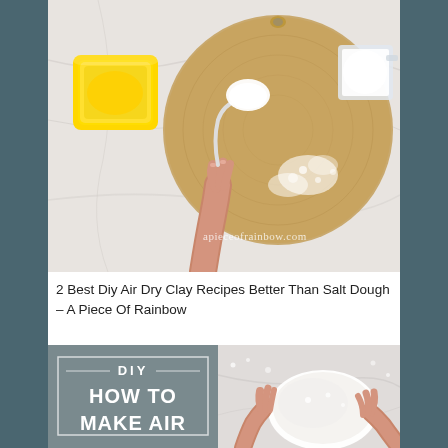[Figure (photo): Overhead shot on white marble surface: a yellow square container on the left, a round wooden cutting board with white powder (flour/baking soda) scattered on it, a white measuring spoon held by a hand from below, and a small measuring cup with white powder on top of the board. Watermark text reads 'apieceofrainbow.com'.]
2 Best Diy Air Dry Clay Recipes Better Than Salt Dough – A Piece Of Rainbow
[Figure (photo): Split image: left half shows a gray panel with text 'DIY — HOW TO MAKE AIR' in white bold letters inside a rectangular border; right half shows hands kneading a white dough ball on a flour-dusted marble surface.]